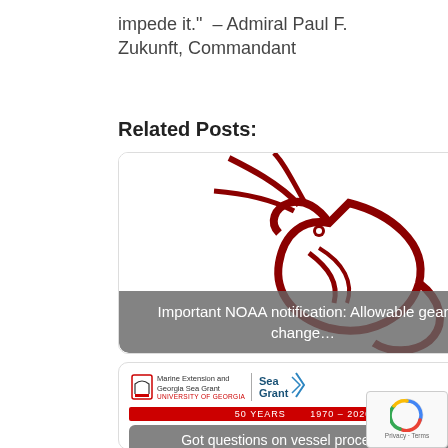impede it." – Admiral Paul F. Zukunft, Commandant
Related Posts:
[Figure (illustration): Red shrimp line illustration logo with overlay text: Important NOAA notification: Allowable gear change...]
[Figure (logo): Marine Extension and Georgia Sea Grant / University of Georgia logo with Sea Grant logo and 50 Years banner 1970-2020, with overlay text: Got questions on vessel procedures for]